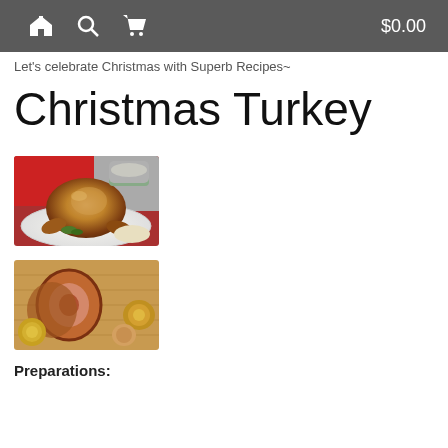$0.00
Let's celebrate Christmas with Superb Recipes~
Christmas Turkey
[Figure (photo): A roasted turkey on a white plate with garnishes and side dishes on a holiday table]
[Figure (photo): Sliced roasted pork roll showing cross-section, surrounded by roasted onions on a cutting board]
Preparations: